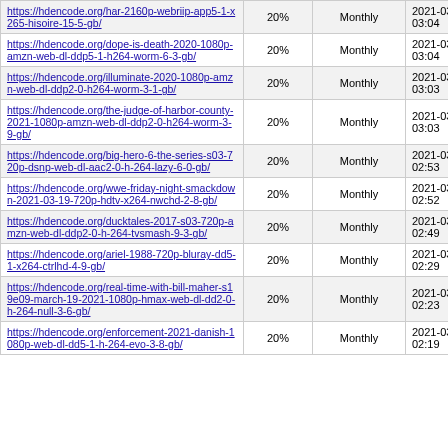| https://hdencode.org/har-2160p-webriip-app5-1-x265-hisoire-15-5-gb/ | 20% | Monthly | 2021-03-20 03:04 |
| https://hdencode.org/dope-is-death-2020-1080p-amzn-web-dl-ddp5-1-h264-worm-6-3-gb/ | 20% | Monthly | 2021-03-20 03:04 |
| https://hdencode.org/illuminate-2020-1080p-amzn-web-dl-ddp2-0-h264-worm-3-1-gb/ | 20% | Monthly | 2021-03-20 03:03 |
| https://hdencode.org/the-judge-of-harbor-county-2021-1080p-amzn-web-dl-ddp2-0-h264-worm-3-9-gb/ | 20% | Monthly | 2021-03-20 03:03 |
| https://hdencode.org/big-hero-6-the-series-s03-720p-dsnp-web-dl-aac2-0-h-264-lazy-6-0-gb/ | 20% | Monthly | 2021-03-20 02:53 |
| https://hdencode.org/wwe-friday-night-smackdown-2021-03-19-720p-hdtv-x264-nwchd-2-8-gb/ | 20% | Monthly | 2021-03-20 02:52 |
| https://hdencode.org/ducktales-2017-s03-720p-amzn-web-dl-ddp2-0-h-264-tvsmash-9-3-gb/ | 20% | Monthly | 2021-03-20 02:49 |
| https://hdencode.org/ariel-1988-720p-bluray-dd5-1-x264-ctrlhd-4-9-gb/ | 20% | Monthly | 2021-03-20 02:29 |
| https://hdencode.org/real-time-with-bill-maher-s19e09-march-19-2021-1080p-hmax-web-dl-dd2-0-h-264-null-3-6-gb/ | 20% | Monthly | 2021-03-20 02:23 |
| https://hdencode.org/enforcement-2021-danish-1080p-web-dl-dd5-1-h-264-evo-3-8-gb/ | 20% | Monthly | 2021-03-20 02:19 |